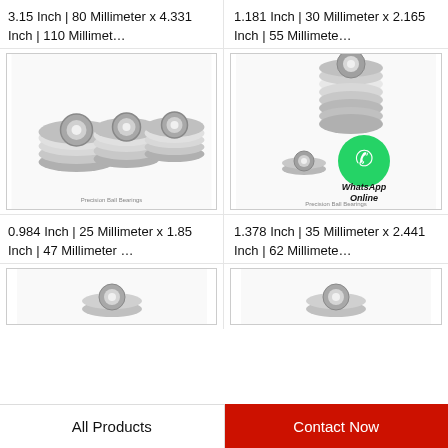3.15 Inch | 80 Millimeter x 4.331 Inch | 110 Millimeter…
1.181 Inch | 30 Millimeter x 2.165 Inch | 55 Millimeter…
[Figure (photo): Multiple steel ball bearings stacked and arranged, silver metallic color, precision ball bearings logo visible]
[Figure (photo): Stack of steel ball bearings with WhatsApp Online badge overlay showing green WhatsApp icon]
0.984 Inch | 25 Millimeter x 1.85 Inch | 47 Millimeter …
1.378 Inch | 35 Millimeter x 2.441 Inch | 62 Millimeter…
[Figure (photo): Partially visible steel ball bearing product image (bottom row, left)]
[Figure (photo): Partially visible steel ball bearing product image (bottom row, right)]
All Products
Contact Now